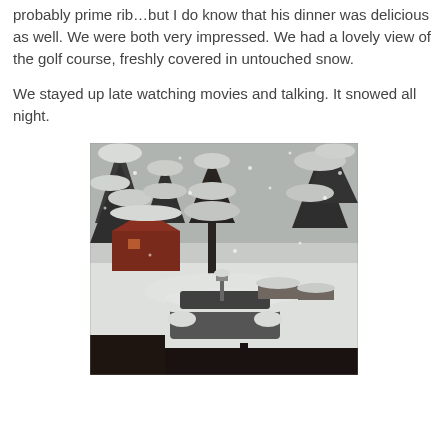probably prime rib…but I do know that his dinner was delicious as well. We were both very impressed. We had a lovely view of the golf course, freshly covered in untouched snow.
We stayed up late watching movies and talking. It snowed all night.
[Figure (photo): Outdoor winter scene showing a snow-covered yard with trees heavily laden with snow, a red cabin/building in the background, a snow-covered vehicle or table in the foreground, and a dark railing at the bottom of the frame. Heavy snowfall is visible.]